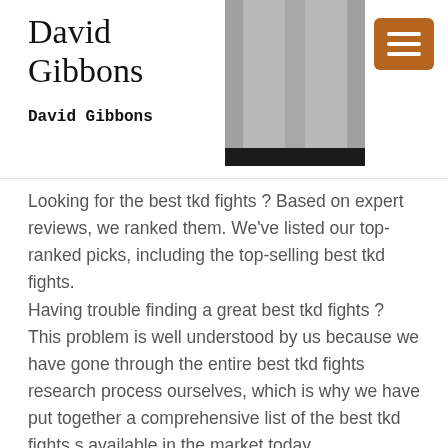David Gibbons
David Gibbons
[Figure (photo): Product photo of a grey garment with a black hem band at the bottom]
Looking for the best tkd fights ? Based on expert reviews, we ranked them. We’ve listed our top-ranked picks, including the top-selling best tkd fights.
Having trouble finding a great best tkd fights ? This problem is well understood by us because we have gone through the entire best tkd fights research process ourselves, which is why we have put together a comprehensive list of the best tkd fights s available in the market today.
After hours of searching and using all the models on the market, we have found the best tkd fights